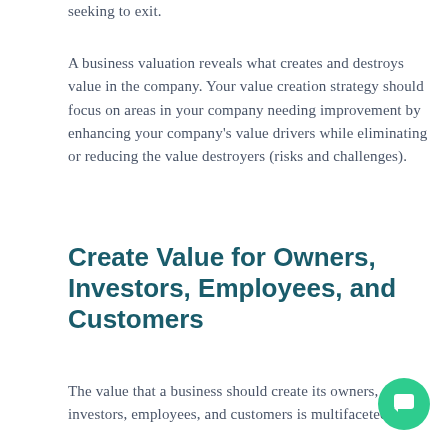seeking to exit.
A business valuation reveals what creates and destroys value in the company. Your value creation strategy should focus on areas in your company needing improvement by enhancing your company’s value drivers while eliminating or reducing the value destroyers (risks and challenges).
Create Value for Owners, Investors, Employees, and Customers
The value that a business should create its owners, investors, employees, and customers is multifaceted and